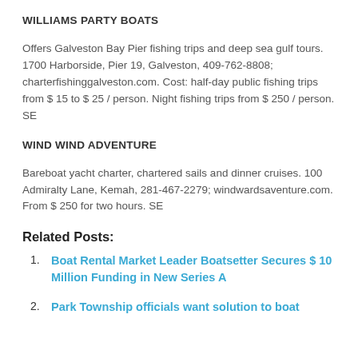WILLIAMS PARTY BOATS
Offers Galveston Bay Pier fishing trips and deep sea gulf tours. 1700 Harborside, Pier 19, Galveston, 409-762-8808; charterfishinggalveston.com. Cost: half-day public fishing trips from $ 15 to $ 25 / person. Night fishing trips from $ 250 / person. SE
WIND WIND ADVENTURE
Bareboat yacht charter, chartered sails and dinner cruises. 100 Admiralty Lane, Kemah, 281-467-2279; windwardsaventure.com. From $ 250 for two hours. SE
Related Posts:
Boat Rental Market Leader Boatsetter Secures $ 10 Million Funding in New Series A
Park Township officials want solution to boat